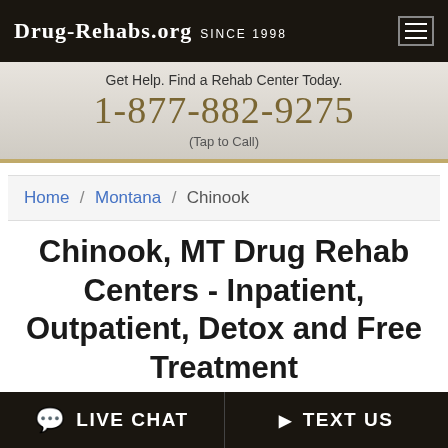Drug-Rehabs.org Since 1998
Get Help. Find a Rehab Center Today.
1-877-882-9275
(Tap to Call)
Home / Montana / Chinook
Chinook, MT Drug Rehab Centers - Inpatient, Outpatient, Detox and Free Treatment
Chinook, MT has nearby treatment options including: 2 medicare treatment centers, 1
LIVE CHAT   TEXT US